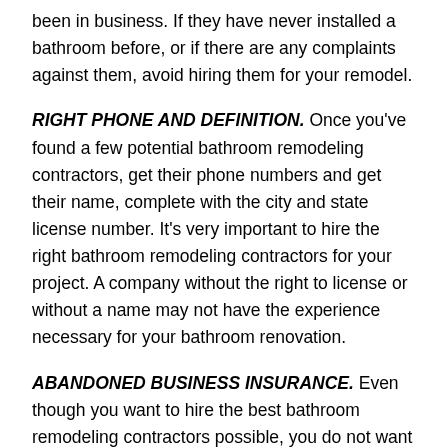been in business. If they have never installed a bathroom before, or if there are any complaints against them, avoid hiring them for your remodel.
RIGHT PHONE AND DEFINITION. Once you've found a few potential bathroom remodeling contractors, get their phone numbers and get their name, complete with the city and state license number. It's very important to hire the right bathroom remodeling contractors for your project. A company without the right to license or without a name may not have the experience necessary for your bathroom renovation.
ABANDONED BUSINESS INSURANCE. Even though you want to hire the best bathroom remodeling contractors possible, you do not want to assume that they will have the appropriate business insurance. There is absolutely no reason to hire a contractor who does not have the proper insurance protection. Make sure the